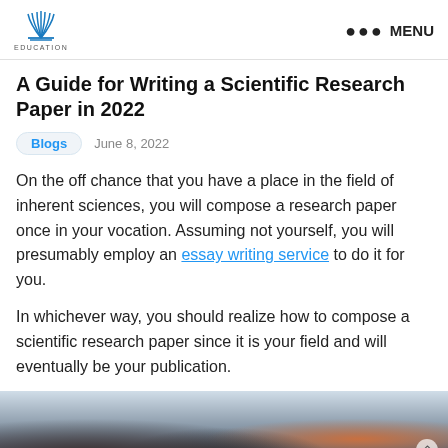EDUCATION | ••• MENU
A Guide for Writing a Scientific Research Paper in 2022
Blogs   June 8, 2022
On the off chance that you have a place in the field of inherent sciences, you will compose a research paper once in your vocation. Assuming not yourself, you will presumably employ an essay writing service to do it for you.
In whichever way, you should realize how to compose a scientific research paper since it is your field and will eventually be your publication.
[Figure (photo): A blurry photo of people in an educational or laboratory setting, cropped at the bottom of the page.]